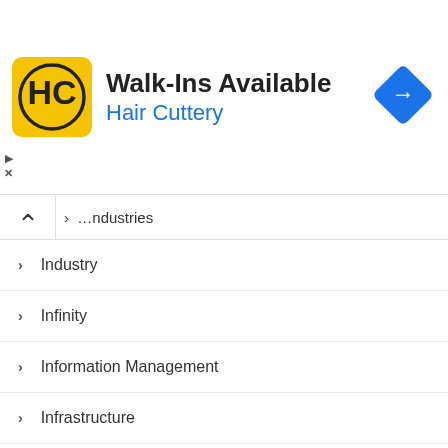[Figure (advertisement): Hair Cuttery advertisement banner with yellow/black HC logo, 'Walk-Ins Available' headline, 'Hair Cuttery' subtitle in blue, and a blue navigation/direction diamond icon on the right.]
Industries
Industry
Infinity
Information Management
Infrastructure
Inkjet Printer Ink
Inkjet Printers
Inspirational
Instant Breakfast Drinks